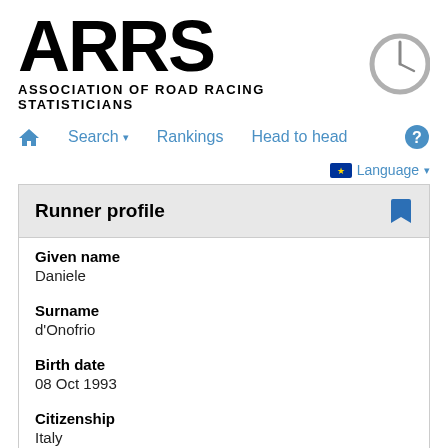[Figure (logo): ARRS logo with large bold text 'ARRS', a clock graphic, and subtitle 'ASSOCIATION OF ROAD RACING STATISTICIANS']
🏠 Search▾ Rankings Head to head ?
🌐 Language▾
Runner profile
Given name
Daniele
Surname
d'Onofrio
Birth date
08 Oct 1993
Citizenship
Italy
Qualified by